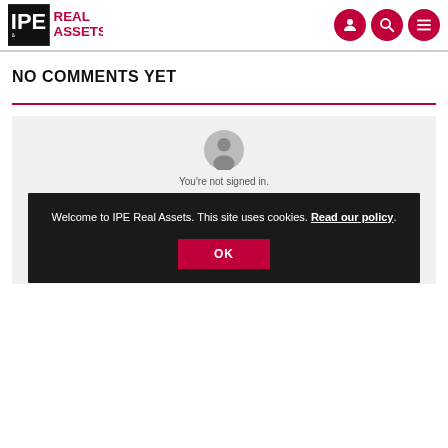IPE Real Assets
NO COMMENTS YET
[Figure (illustration): Gray user avatar icon indicating user is not signed in, with text 'You're not signed in.' below it, on a light gray background]
Welcome to IPE Real Assets. This site uses cookies. Read our policy.
OK